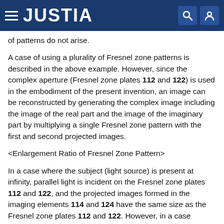JUSTIA
of patterns do not arise.
A case of using a plurality of Fresnel zone patterns is described in the above example. However, since the complex aperture (Fresnel zone plates 112 and 122) is used in the embodiment of the present invention, an image can be reconstructed by generating the complex image including the image of the real part and the image of the imaginary part by multiplying a single Fresnel zone pattern with the first and second projected images.
<Enlargement Ratio of Fresnel Zone Pattern>
In a case where the subject (light source) is present at infinity, parallel light is incident on the Fresnel zone plates 112 and 122, and the projected images formed in the imaging elements 114 and 124 have the same size as the Fresnel zone plates 112 and 122. However, in a case